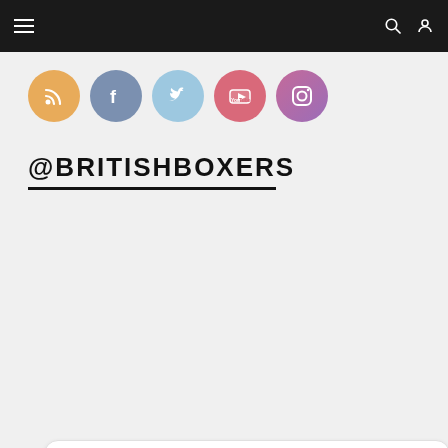Navigation bar with hamburger menu, search and user icons
[Figure (illustration): Five social media icon circles in a row: RSS (orange), Facebook (blue-grey), Twitter (light blue), YouTube (pink-red), Instagram (purple gradient)]
@BRITISHBOXERS
Tweets from @britishboxers  Follow
BBTV Boxing Retweeted
Frank Wa...  @frankwarr...  · Aug 27  🔥 Big Risk with a Big Reward 🔥
#JoyceParker | September 24 | 🔷 via bit.ly/JoyceParker